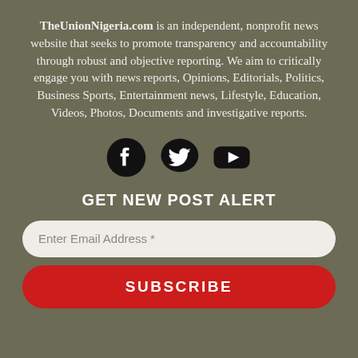TheUnionNigeria.com is an independent, nonprofit news website that seeks to promote transparency and accountability through robust and objective reporting. We aim to critically engage you with news reports, Opinions, Editorials, Politics, Business Sports, Entertainment news, Lifestyle, Education, Videos, Photos, Documents and investigative reports.
[Figure (other): Three social media icons: Facebook, Twitter, YouTube, displayed in black circles/shapes]
GET NEW POST ALERT
Enter Email Address *
SUBSCRIBE